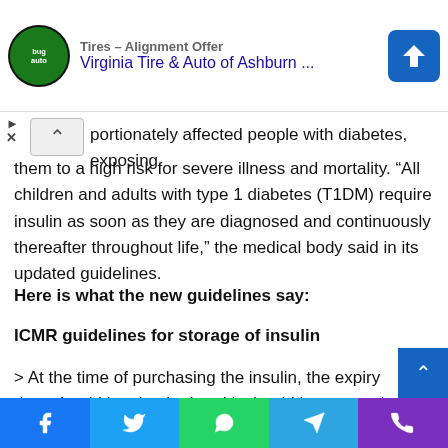[Figure (screenshot): Advertisement banner for Virginia Tire & Auto of Ashburn with logo, navigation arrow icon, play and close buttons]
portionately affected people with diabetes, exposing them to a high risk for severe illness and mortality. “All children and adults with type 1 diabetes (T1DM) require insulin as soon as they are diagnosed and continuously thereafter throughout life,” the medical body said in its updated guidelines.
Here is what the new guidelines say:
ICMR guidelines for storage of insulin
> At the time of purchasing the insulin, the expiry date should be checked and it should be ensured that there are no clumps or discoloration of the insulin.
Social sharing bar: Facebook, Twitter, WhatsApp, Telegram, Phone